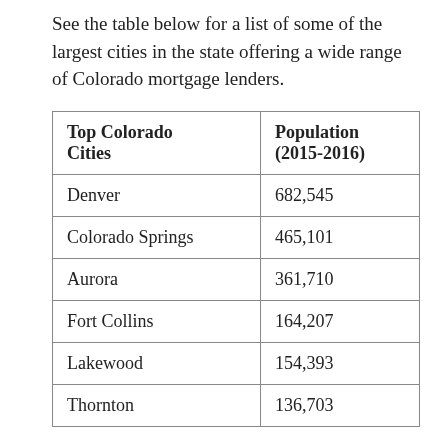See the table below for a list of some of the largest cities in the state offering a wide range of Colorado mortgage lenders.
| Top Colorado Cities | Population (2015-2016) |
| --- | --- |
| Denver | 682,545 |
| Colorado Springs | 465,101 |
| Aurora | 361,710 |
| Fort Collins | 164,207 |
| Lakewood | 154,393 |
| Thornton | 136,703 |